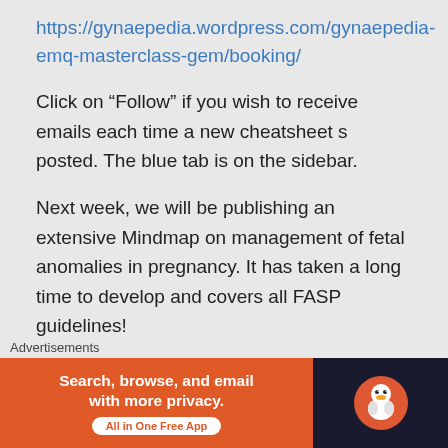https://gynaepedia.wordpress.com/gynaepedia-emq-masterclass-gem/booking/
Click on “Follow” if you wish to receive emails each time a new cheatsheet s posted. The blue tab is on the sidebar.
Next week, we will be publishing an extensive Mindmap on management of fetal anomalies in pregnancy. It has taken a long time to develop and covers all FASP guidelines!
Good luck with your revision, and if you
Advertisements
[Figure (other): DuckDuckGo advertisement banner: orange left section with text 'Search, browse, and email with more privacy. All in One Free App', dark right section with DuckDuckGo logo duck icon]